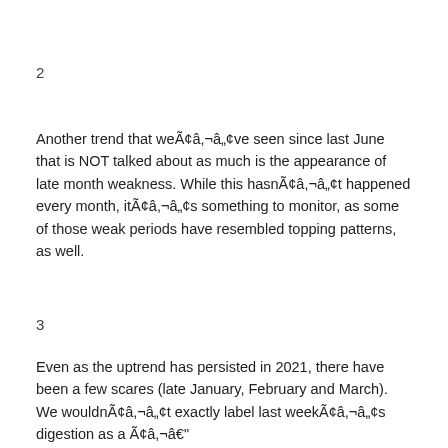2
Another trend that weÃ¢â‚¬â„¢ve seen since last June that is NOT talked about as much is the appearance of late month weakness. While this hasnÃ¢â‚¬â„¢t happened every month, itÃ¢â‚¬â„¢s something to monitor, as some of those weak periods have resembled topping patterns, as well.
3
Even as the uptrend has persisted in 2021, there have been a few scares (late January, February and March). We wouldnÃ¢â‚¬â„¢t exactly label last weekÃ¢â‚¬â„¢s digestion as a Ã¢â‚¬â€